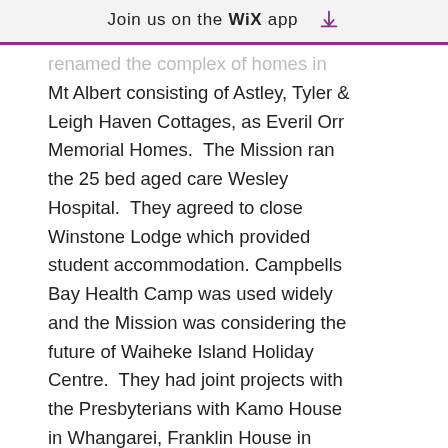Join us on the WiX app
renamed the complex of homes in Mt Albert consisting of Astley, Tyler & Leigh Haven Cottages, as Everil Orr Memorial Homes.  The Mission ran the 25 bed aged care Wesley Hospital.  They agreed to close Winstone Lodge which provided student accommodation. Campbells Bay Health Camp was used widely and the Mission was considering the future of Waiheke Island Holiday Centre.  They had joint projects with the Presbyterians with Kamo House in Whangarei, Franklin House in Pukekohe, and Melrose House in Tauranga, and they were setting up another home with the Presbyterians in Papatoetoe.  The James Liston